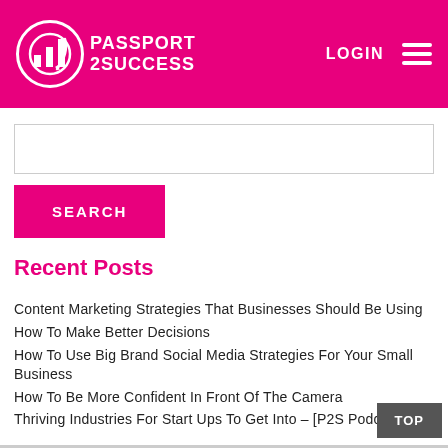[Figure (logo): Passport 2 Success logo with circular icon and text on pink/magenta background header]
LOGIN
SEARCH
Recent Posts
Content Marketing Strategies That Businesses Should Be Using
How To Make Better Decisions
How To Use Big Brand Social Media Strategies For Your Small Business
How To Be More Confident In Front Of The Camera
Thriving Industries For Start Ups To Get Into – [P2S Podcast]
TOP